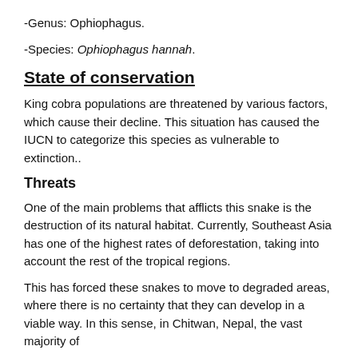-Genus: Ophiophagus.
-Species: Ophiophagus hannah.
State of conservation
King cobra populations are threatened by various factors, which cause their decline. This situation has caused the IUCN to categorize this species as vulnerable to extinction..
Threats
One of the main problems that afflicts this snake is the destruction of its natural habitat. Currently, Southeast Asia has one of the highest rates of deforestation, taking into account the rest of the tropical regions.
This has forced these snakes to move to degraded areas, where there is no certainty that they can develop in a viable way. In this sense, in Chitwan, Nepal, the vast majority of